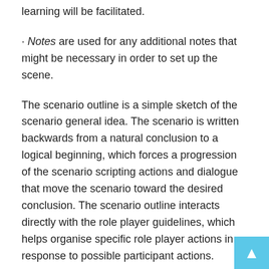learning will be facilitated.
· Notes are used for any additional notes that might be necessary in order to set up the scene.
The scenario outline is a simple sketch of the scenario general idea. The scenario is written backwards from a natural conclusion to a logical beginning, which forces a progression of the scenario scripting actions and dialogue that move the scenario toward the desired conclusion. The scenario outline interacts directly with the role player guidelines, which helps organise specific role player actions in response to possible participant actions.
Prior to running scenarios, a test phase is recommended, which helps discover possible unanticipated participant responses. The test phase can debug many possibilities never